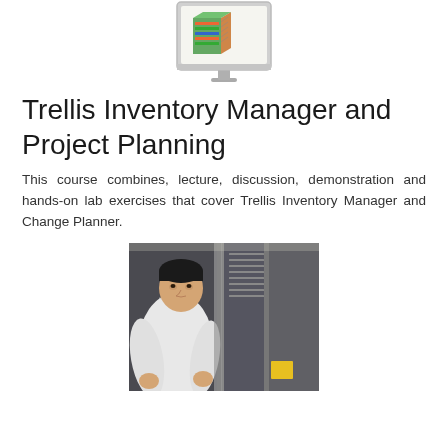[Figure (illustration): Computer monitor displaying colorful 3D rack/server visualization software (Trellis software illustration)]
Trellis Inventory Manager and Project Planning
This course combines, lecture, discussion, demonstration and hands-on lab exercises that cover Trellis Inventory Manager and Change Planner.
[Figure (photo): Photo of a young man in a white shirt working inside a server rack in a data center, viewed from the side]